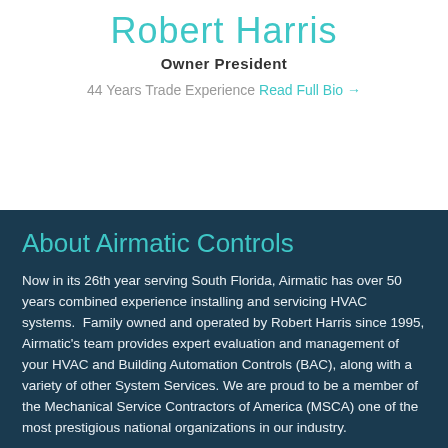Robert Harris
Owner President
44 Years Trade Experience Read Full Bio →
About Airmatic Controls
Now in its 26th year serving South Florida, Airmatic has over 50 years combined experience installing and servicing HVAC systems.  Family owned and operated by Robert Harris since 1995, Airmatic's team provides expert evaluation and management of your HVAC and Building Automation Controls (BAC), along with a variety of other System Services. We are proud to be a member of the Mechanical Service Contractors of America (MSCA) one of the most prestigious national organizations in our industry.